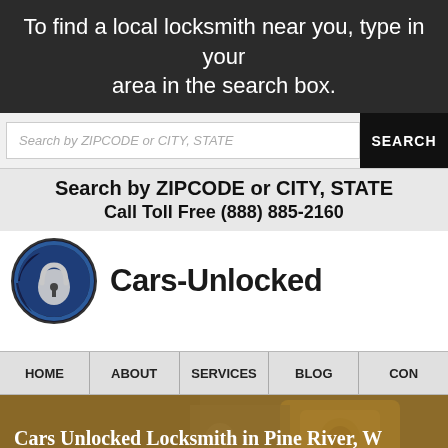To find a local locksmith near you, type in your area in the search box.
Search by ZIPCODE or CITY, STATE | SEARCH
Search by ZIPCODE or CITY, STATE
Call Toll Free (888) 885-2160
[Figure (logo): Cars-Unlocked logo with circular key/lock icon in blue and silver, followed by bold text 'Cars-Unlocked']
HOME | ABOUT | SERVICES | BLOG | CON
Cars Unlocked Locksmith in Pine River, W